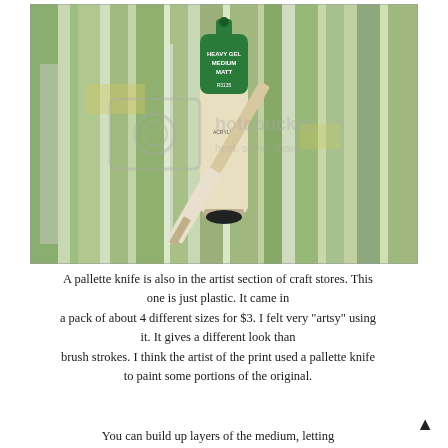[Figure (photo): A tube of Heavy Gel Medium Matt acrylic and a plastic palette knife resting on a painted canvas with green and silver streaks. A Photobucket watermark is visible over the image.]
A pallette knife is also in the artist section of craft stores. This one is just plastic. It came in a pack of about 4 different sizes for $3. I felt very "artsy" using it. It gives a different look than brush strokes. I think the artist of the print used a pallette knife to paint some portions of the original.
You can build up layers of the medium, letting